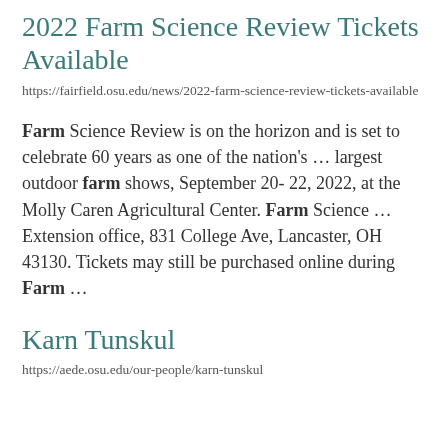2022 Farm Science Review Tickets Available
https://fairfield.osu.edu/news/2022-farm-science-review-tickets-available
Farm Science Review is on the horizon and is set to celebrate 60 years as one of the nation's ... largest outdoor farm shows, September 20- 22, 2022, at the Molly Caren Agricultural Center. Farm Science ... Extension office, 831 College Ave, Lancaster, OH 43130. Tickets may still be purchased online during Farm ...
Karn Tunskul
https://aede.osu.edu/our-people/karn-tunskul